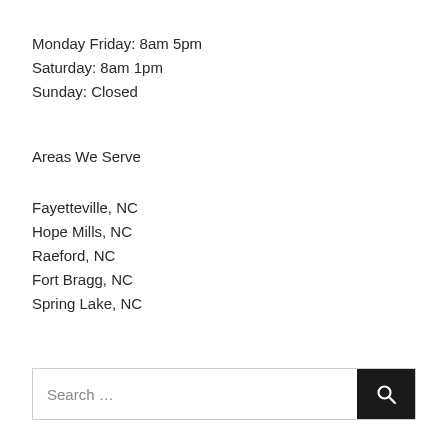Monday Friday: 8am 5pm
Saturday: 8am 1pm
Sunday: Closed
Areas We Serve
Fayetteville, NC
Hope Mills, NC
Raeford, NC
Fort Bragg, NC
Spring Lake, NC